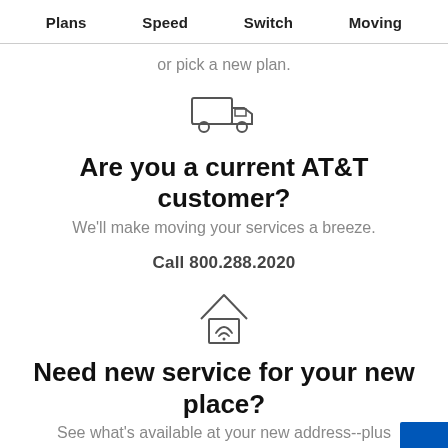Plans  Speed  Switch  Moving
or pick a new plan.
[Figure (illustration): Icon of a delivery/moving truck outline]
Are you a current AT&T customer?
We'll make moving your services a breeze.
Call 800.288.2020
[Figure (illustration): Icon of a house with wifi signal inside]
Need new service for your new place?
See what's available at your new address--plus